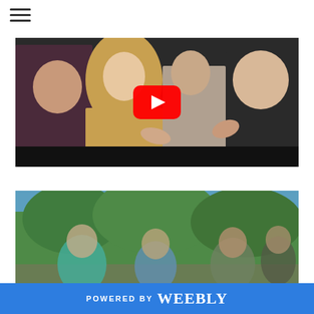[Figure (other): Hamburger menu icon (three horizontal lines) in top-left corner]
[Figure (other): YouTube video thumbnail showing group of young people laughing and leaning, with YouTube play button overlay in center]
[Figure (photo): Outdoor photo of blurred group of people gathered outdoors with green trees and blue sky in background]
POWERED BY weebly